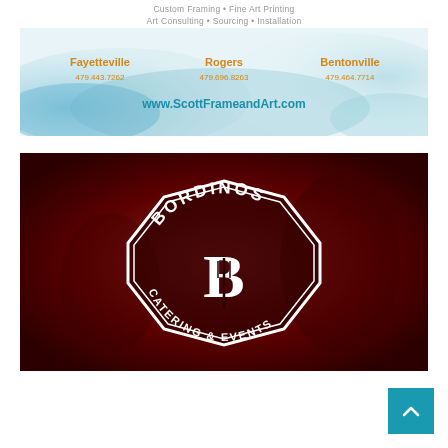[Figure (illustration): Scott Frame and Art advertisement with watercolor blue/teal background. Shows services: Custom Framing, Fine Art Printing, Art Consulting, Sourcing, Installation. Three locations listed: Fayetteville 479.443.7262, Rogers 479.696.8263, Bentonville 479.464.7714. Website: www.ScottFrameandArt.com]
[Figure (logo): Bordinos Catering & Events logo on dark red/maroon background with wine glasses. Circular badge design with octagonal border, large B letter with fork, text BORDINOS around top and CATERING & EVENTS around bottom.]
[Figure (other): Teal scroll-to-top button with upward chevron arrow in bottom right corner.]